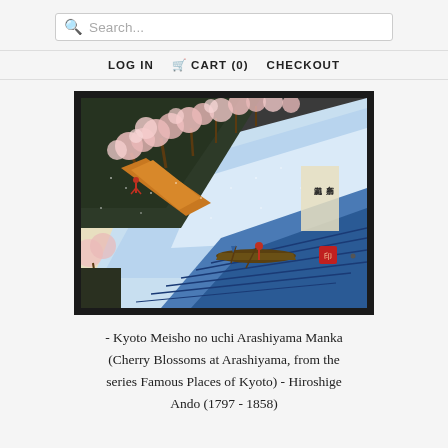Search...
LOG IN   CART (0)   CHECKOUT
[Figure (photo): Japanese woodblock print: Kyoto Meisho no uchi Arashiyama Manka (Cherry Blossoms at Arashiyama) by Hiroshige Ando, showing a river with cherry blossom trees on a bank, a figure on a path, and a boat with a boatman on the water.]
- Kyoto Meisho no uchi Arashiyama Manka (Cherry Blossoms at Arashiyama, from the series Famous Places of Kyoto) - Hiroshige Ando (1797 - 1858)